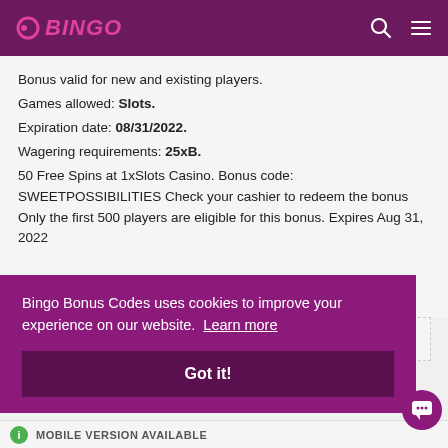BINGO
Bonus valid for new and existing players.
Games allowed: Slots.
Expiration date: 08/31/2022.
Wagering requirements: 25xB.
50 Free Spins at 1xSlots Casino. Bonus code: SWEETPOSSIBILITIES Check your cashier to redeem the bonus Only the first 500 players are eligible for this bonus. Expires Aug 31, 2022
Bingo Bonus Codes uses cookies to improve your experience on our website. Learn more
Got it!
MOBILE VERSION AVAILABLE